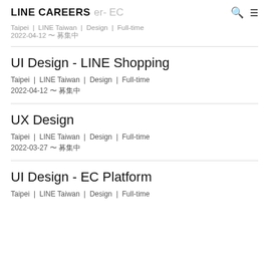LINE CAREERS er- EC
Taipei | LINE Taiwan | Design | Full-time
2022-04-12 〜 募集中
UI Design - LINE Shopping
Taipei | LINE Taiwan | Design | Full-time
2022-04-12 〜 募集中
UX Design
Taipei | LINE Taiwan | Design | Full-time
2022-03-27 〜 募集中
UI Design - EC Platform
Taipei | LINE Taiwan | Design | Full-time